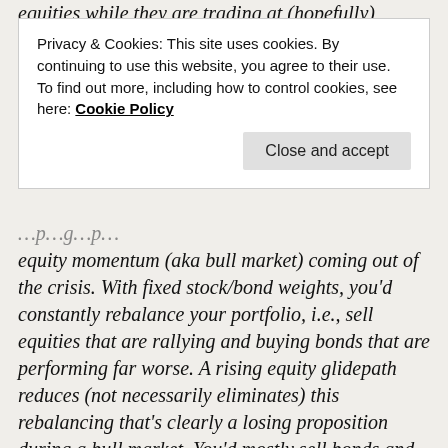equities while they are trading at (hopefully)
Privacy & Cookies: This site uses cookies. By continuing to use this website, you agree to their use.
To find out more, including how to control cookies, see here: Cookie Policy
Close and accept
equity momentum (aka bull market) coming out of the crisis. With fixed stock/bond weights, you'd constantly rebalance your portfolio, i.e., sell equities that are rallying and buying bonds that are performing far worse. A rising equity glidepath reduces (not necessarily eliminates) this rebalancing that's clearly a losing proposition during a bull market. You'd mostly sell bonds and let the equities ride! In summary, the reason why I think that this is so useful: The peak to trough in 2007-2009 was only 17 months (I know seemed like forever back then!), but the bull market so far has been going on for 10+ years and the glidepath